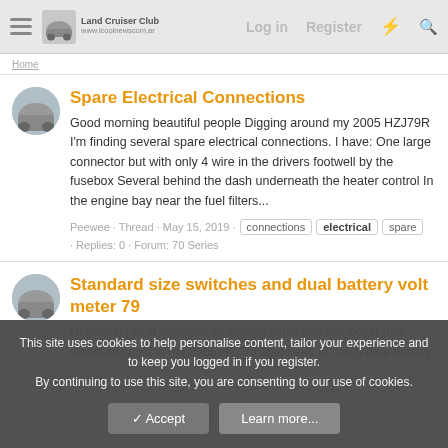Land Cruiser Club — Log in   Register
Spare Electrical Connections
Good morning beautiful people Digging around my 2005 HZJ79R I'm finding several spare electrical connections. I have: One large connector but with only 4 wire in the drivers footwell by the fusebox Several behind the dash underneath the heater control In the engine bay near the fuel filters...
Peewee · Thread · May 15, 2019 · connections  electrical  spare · Replies: 0 · Forum: 70 Series
Standard size switches and dual battery volt meter 79
Hi Looking to fit switches for driving lights and diff locker into standard spots in my 2005 HZJ79 Also keen to find a dual battery
This site uses cookies to help personalise content, tailor your experience and to keep you logged in if you register.
By continuing to use this site, you are consenting to our use of cookies.